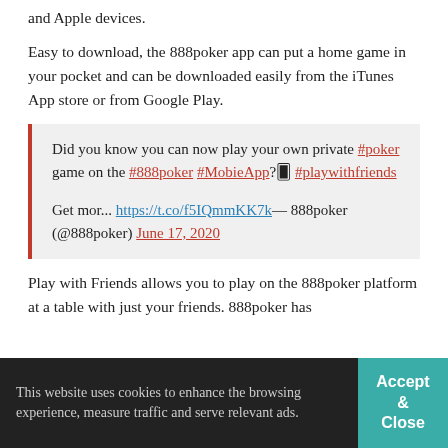and Apple devices.
Easy to download, the 888poker app can put a home game in your pocket and can be downloaded easily from the iTunes App store or from Google Play.
Did you know you can now play your own private #poker game on the #888poker #MobieApp? 🃏 #playwithfriends

Get mor... https://t.co/f5IQmmKK7k — 888poker (@888poker) June 17, 2020
Play with Friends allows you to play on the 888poker platform at a table with just your friends. 888poker has
This website uses cookies to enhance the browsing experience, measure traffic and serve relevant ads.